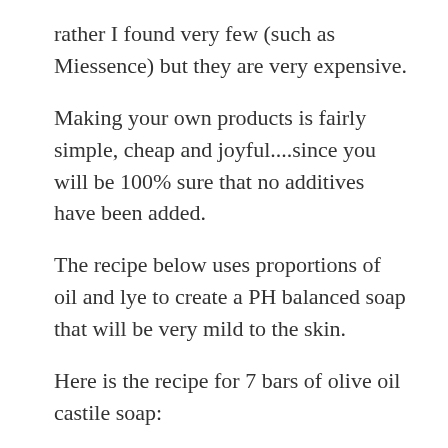rather I found very few (such as Miessence) but they are very expensive.
Making your own products is fairly simple, cheap and joyful....since you will be 100% sure that no additives have been added.
The recipe below uses proportions of oil and lye to create a PH balanced soap that will be very mild to the skin.
Here is the recipe for 7 bars of olive oil castile soap:
150g/ 164 ml coconut oil
538 g/ 580 ml olive oil
190-220 ml cold water
92 g lye /sodium hydroxide/ caustic soda